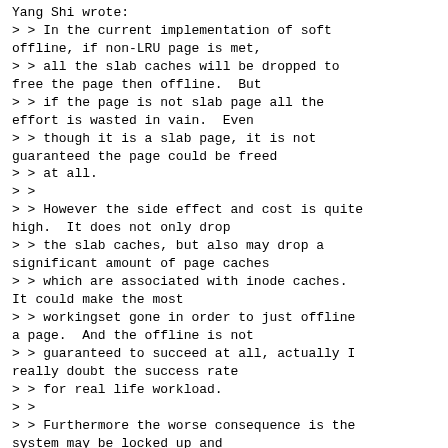Yang Shi wrote:
> > In the current implementation of soft
offline, if non-LRU page is met,
> > all the slab caches will be dropped to
free the page then offline.  But
> > if the page is not slab page all the
effort is wasted in vain.  Even
> > though it is a slab page, it is not
guaranteed the page could be freed
> > at all.
> >
> > However the side effect and cost is quite
high.  It does not only drop
> > the slab caches, but also may drop a
significant amount of page caches
> > which are associated with inode caches.
It could make the most
> > workingset gone in order to just offline
a page.  And the offline is not
> > guaranteed to succeed at all, actually I
really doubt the success rate
> > for real life workload.
> >
> > Furthermore the worse consequence is the
system may be locked up and
> > unusable since the page cache release may
incur huge amount of works
> > queued for memcg release.
> >
> > Actually we ran into such unpleasant case